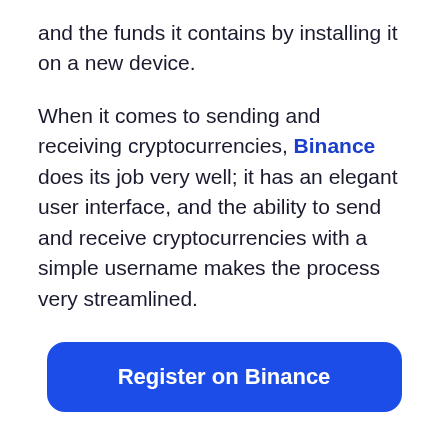and the funds it contains by installing it on a new device.
When it comes to sending and receiving cryptocurrencies, Binance does its job very well; it has an elegant user interface, and the ability to send and receive cryptocurrencies with a simple username makes the process very streamlined.
[Figure (other): Blue rounded rectangle button with white text reading 'Register on Binance']
Storage on a hardware Wallet (Ledger Nano)